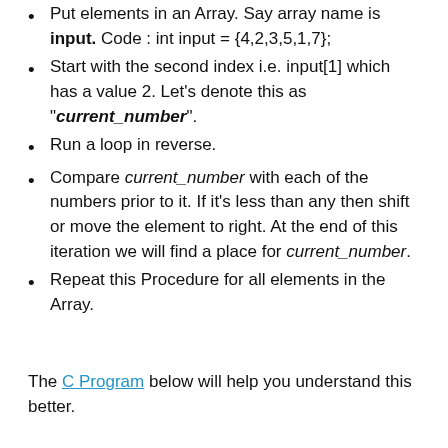Put elements in an Array. Say array name is input. Code : int input = {4,2,3,5,1,7};
Start with the second index i.e. input[1] which has a value 2. Let's denote this as "current_number".
Run a loop in reverse.
Compare current_number with each of the numbers prior to it. If it's less than any then shift or move the element to right. At the end of this iteration we will find a place for current_number.
Repeat this Procedure for all elements in the Array.
The C Program below will help you understand this better.